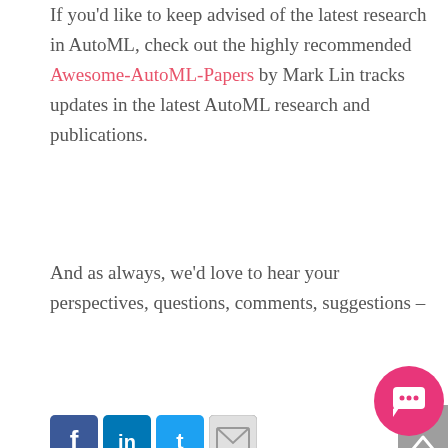If you'd like to keep advised of the latest research in AutoML, check out the highly recommended Awesome-AutoML-Papers by Mark Lin tracks updates in the latest AutoML research and publications.
And as always, we'd love to hear your perspectives, questions, comments, suggestions –
[Figure (illustration): Social sharing icons: Facebook (blue), LinkedIn (blue), Twitter (light blue), Email (grey envelope)]
[Figure (illustration): Scroll-to-top button: grey rectangle with upward caret arrow]
SIGN UP FOR OUR NEWSLETTER
[Figure (illustration): Pink circular chat/support bubble icon in bottom right corner]
Email *